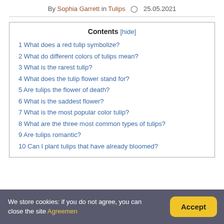By Sophia Garrett in Tulips  ⊙  25.05.2021
| Contents |
| --- |
| 1 What does a red tulip symbolize? |
| 2 What do different colors of tulips mean? |
| 3 What is the rarest tulip? |
| 4 What does the tulip flower stand for? |
| 5 Are tulips the flower of death? |
| 6 What is the saddest flower? |
| 7 What is the most popular color tulip? |
| 8 What are the three most common types of tulips? |
| 9 Are tulips romantic? |
| 10 Can I plant tulips that have already bloomed? |
We store cookies: if you do not agree, you can close the site Agreemen